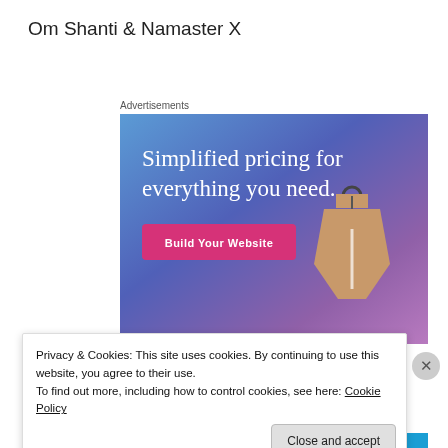Om Shanti & Namaster X
Advertisements
[Figure (illustration): Advertisement banner with gradient blue-purple background showing text 'Simplified pricing for everything you need.' with a pink 'Build Your Website' button and a hanging price tag graphic on the right side.]
Privacy & Cookies: This site uses cookies. By continuing to use this website, you agree to their use.
To find out more, including how to control cookies, see here: Cookie Policy